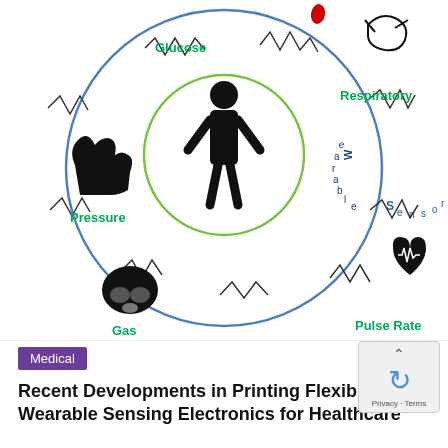[Figure (infographic): Circular infographic showing 'Wearable Sensors' at center with a human silhouette inside a green circle, surrounded by sensor categories: Glucose (top-left, with blood drop icon), Respiratory (top-right, with face icon), Pressure (left, with finger-touch icon), Pulse Rate (right, with heart-rate icon), Gas (lower-left, with gas mask icon), Position (lower-right, with figure/halo icon), Hydration (bottom-left, with dancing figure icon), Motion (bottom-center, with running figure icon). Zigzag/wave lines connect the icons around the outer blue circle.]
Medical
Recent Developments in Printing Flexible and Wearable Sensing Electronics for Healthcare